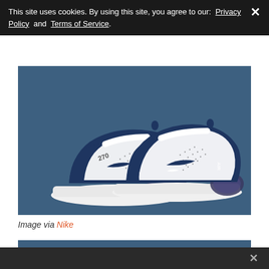This site uses cookies. By using this site, you agree to our: Privacy Policy and Terms of Service.
[Figure (photo): Nike Air Max 270 sneakers in white and navy blue colorway, displayed on a dark blue background. Two shoes shown from a 3/4 angle view. The shoes feature white mesh upper, navy blue leather accents, large Air unit in the heel, and Nike swoosh logo.]
Image via Nike
[Figure (photo): Partial view of a dark blue banner/image at the bottom of the page, partially cut off.]
×